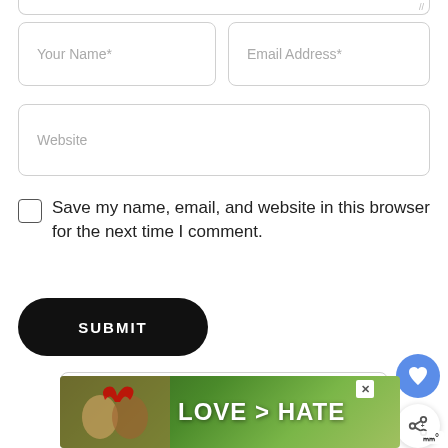[Figure (screenshot): Web comment form showing partial textarea at top, Your Name and Email Address input fields side by side, Website input field, Save my name checkbox, Submit button, heart and share floating buttons, search bar, and Love > Hate advertisement banner at bottom]
Your Name*
Email Address*
Website
Save my name, email, and website in this browser for the next time I comment.
SUBMIT
Search...
LOVE > HATE